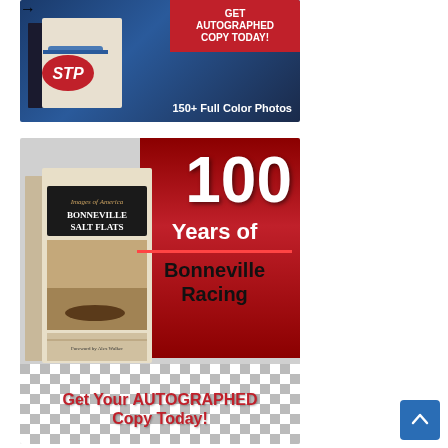[Figure (photo): Advertisement for an autographed book about STP racing with a blue racing car background. Shows a book cover with '150+ Full Color Photos' text and 'GET AUTOGRAPHED COPY TODAY!' banner in red.]
[Figure (photo): Advertisement for 'Bonneville Salt Flats' book celebrating '100 Years of Bonneville Racing'. Shows book cover on checkered background with red gradient. Bottom text reads 'Get Your AUTOGRAPHED Copy Today!' in red bold text.]